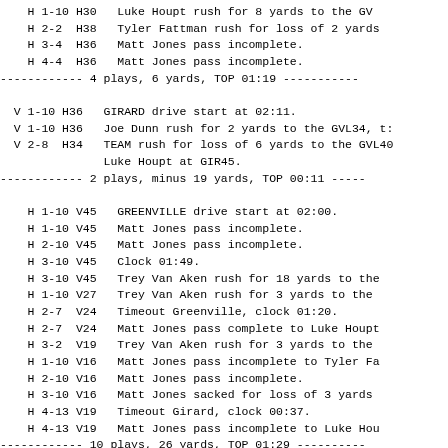H 1-10 H30   Luke Houpt rush for 8 yards to the GV
    H 2-2  H38   Tyler Fattman rush for loss of 2 yards
    H 3-4  H36   Matt Jones pass incomplete.
    H 4-4  H36   Matt Jones pass incomplete.
------------ 4 plays, 6 yards, TOP 01:19 -----------
V 1-10 H36   GIRARD drive start at 02:11.
  V 1-10 H36   Joe Dunn rush for 2 yards to the GVL34, t:
  V 2-8  H34   TEAM rush for loss of 6 yards to the GVL40
               Luke Houpt at GIR45.
------------ 2 plays, minus 19 yards, TOP 00:11 -----
H 1-10 V45   GREENVILLE drive start at 02:00.
    H 1-10 V45   Matt Jones pass incomplete.
    H 2-10 V45   Matt Jones pass incomplete.
    H 3-10 V45   Clock 01:49.
    H 3-10 V45   Trey Van Aken rush for 18 yards to the
    H 1-10 V27   Trey Van Aken rush for 3 yards to the
    H 2-7  V24   Timeout Greenville, clock 01:20.
    H 2-7  V24   Matt Jones pass complete to Luke Houpt
    H 3-2  V19   Trey Van Aken rush for 3 yards to the
    H 1-10 V16   Matt Jones pass incomplete to Tyler Fa
    H 2-10 V16   Matt Jones pass incomplete.
    H 3-10 V16   Matt Jones sacked for loss of 3 yards
    H 4-13 V19   Timeout Girard, clock 00:37.
    H 4-13 V19   Matt Jones pass incomplete to Luke Hou
------------ 10 plays, 26 yards, TOP 01:29 ----------
V 1-10 V19   GIRARD drive start at 00:31.
  V 1-10 V19   TEAM rush for no gain to the GIR19, end of